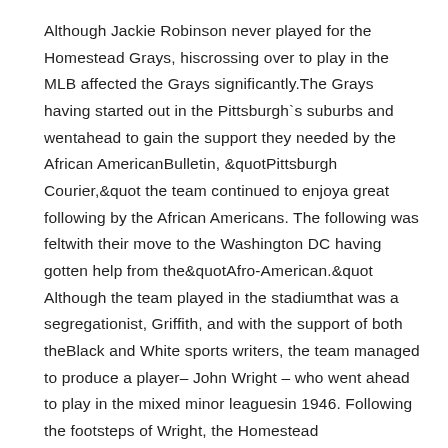Although Jackie Robinson never played for the Homestead Grays, hiscrossing over to play in the MLB affected the Grays significantly.The Grays having started out in the Pittsburgh`s suburbs and wentahead to gain the support they needed by the African AmericanBulletin, &quotPittsburgh Courier,&quot the team continued to enjoya great following by the African Americans. The following was feltwith their move to the Washington DC having gotten help from the&quotAfro-American.&quot Although the team played in the stadiumthat was a segregationist, Griffith, and with the support of both theBlack and White sports writers, the team managed to produce a player– John Wright – who went ahead to play in the mixed minor leaguesin 1946. Following the footsteps of Wright, the Homestead Grayseventually produced a total of eight Major Leaguers.